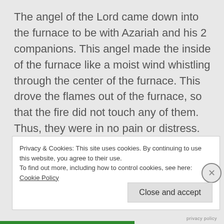The angel of the Lord came down into the furnace to be with Azariah and his 2 companions. This angel made the inside of the furnace like a moist wind whistling through the center of the furnace. This drove the flames out of the furnace, so that the fire did not touch any of them. Thus, they were in no pain or distress. Everything was fine with them, since they were not burning.
Privacy & Cookies: This site uses cookies. By continuing to use this website, you agree to their use.
To find out more, including how to control cookies, see here: Cookie Policy